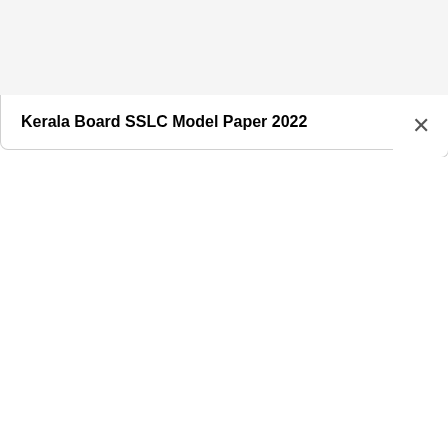Kerala Board SSLC Model Paper 2022